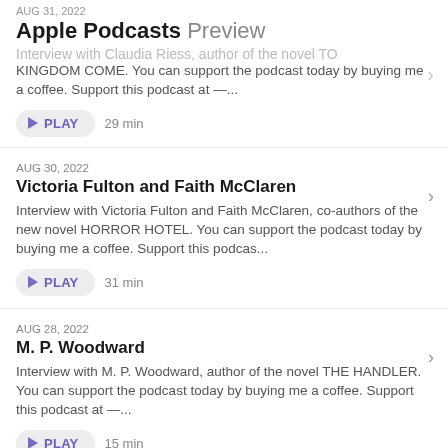Apple Podcasts Preview
AUG 31, 2022
Interview with Claudia Riess, author of the novel TO KINGDOM COME. You can support the podcast today by buying me a coffee. Support this podcast at —...
▶ PLAY  29 min
AUG 30, 2022
Victoria Fulton and Faith McClaren
Interview with Victoria Fulton and Faith McClaren, co-authors of the new novel HORROR HOTEL. You can support the podcast today by buying me a coffee. Support this podcas...
▶ PLAY  31 min
AUG 28, 2022
M. P. Woodward
Interview with M. P. Woodward, author of the novel THE HANDLER. You can support the podcast today by buying me a coffee. Support this podcast at —...
▶ PLAY  15 min
AUG 27, 2022